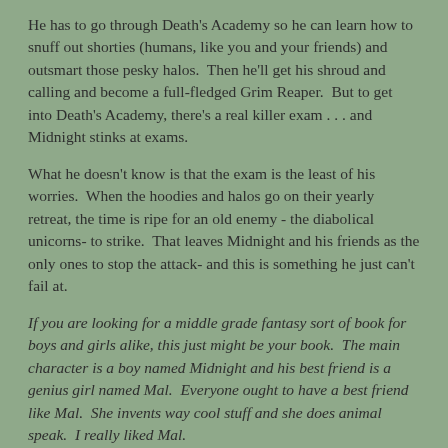He has to go through Death's Academy so he can learn how to snuff out shorties (humans, like you and your friends) and outsmart those pesky halos.  Then he'll get his shroud and calling and become a full-fledged Grim Reaper.  But to get into Death's Academy, there's a real killer exam . . . and Midnight stinks at exams.
What he doesn't know is that the exam is the least of his worries.  When the hoodies and halos go on their yearly retreat, the time is ripe for an old enemy - the diabolical unicorns- to strike.  That leaves Midnight and his friends as the only ones to stop the attack- and this is something he just can't fail at.
If you are looking for a middle grade fantasy sort of book for boys and girls alike, this just might be your book.  The main character is a boy named Midnight and his best friend is a genius girl named Mal.  Everyone ought to have a best friend like Mal.  She invents way cool stuff and she does animal speak.  I really liked Mal.
I'm not so sure I'm the biggest fan of Midnight.  He breaks rules without remorse, he is disrespectful to his parents and other